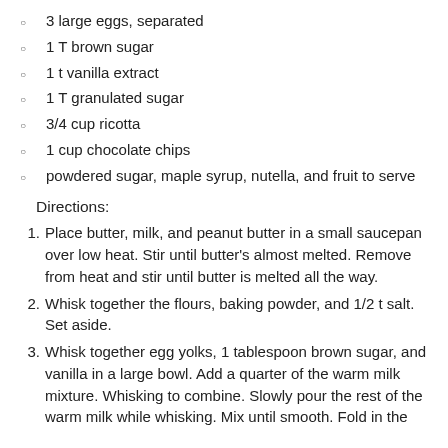3 large eggs, separated
1 T brown sugar
1 t vanilla extract
1 T granulated sugar
3/4 cup ricotta
1 cup chocolate chips
powdered sugar, maple syrup, nutella, and fruit to serve
Directions:
Place butter, milk, and peanut butter in a small saucepan over low heat. Stir until butter's almost melted. Remove from heat and stir until butter is melted all the way.
Whisk together the flours, baking powder, and 1/2 t salt. Set aside.
Whisk together egg yolks, 1 tablespoon brown sugar, and vanilla in a large bowl. Add a quarter of the warm milk mixture. Whisking to combine. Slowly pour the rest of the warm milk while whisking. Mix until smooth. Fold in the